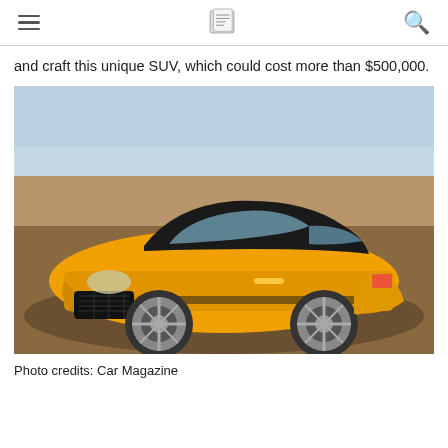[navigation bar with hamburger menu, newspaper icon, and search icon]
and craft this unique SUV, which could cost more than $500,000.
[Figure (photo): Yellow sporty SUV/hatchback concept car parked on a sandy/dirt surface with a light blue sky background. The car has large alloy wheels and aggressive styling.]
Photo credits: Car Magazine